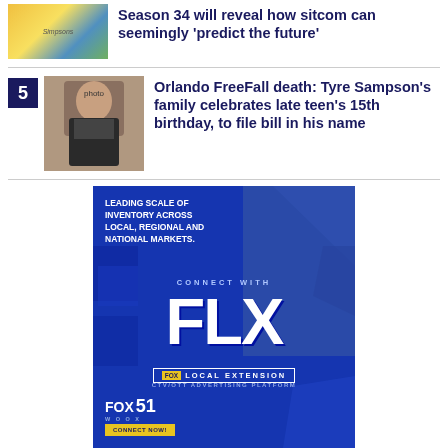[Figure (photo): Simpsons cartoon characters thumbnail]
Season 34 will reveal how sitcom can seemingly 'predict the future'
[Figure (photo): Photo of Tyre Sampson]
Orlando FreeFall death: Tyre Sampson's family celebrates late teen's 15th birthday, to file bill in his name
[Figure (advertisement): Fox Local Extension FLX advertisement - Leading scale of inventory across local, regional and national markets. Connect with FLX Fox Local Extension CTV/OTT Advertising Platform. Fox 51 WOOX. Connect Now!]